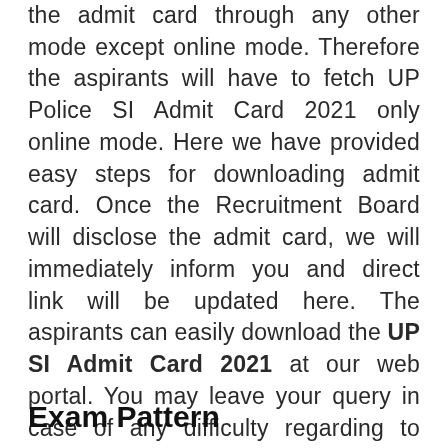the admit card through any other mode except online mode. Therefore the aspirants will have to fetch UP Police SI Admit Card 2021 only online mode. Here we have provided easy steps for downloading admit card. Once the Recruitment Board will disclose the admit card, we will immediately inform you and direct link will be updated here. The aspirants can easily download the UP SI Admit Card 2021 at our web portal. You may leave your query in case of any difficulty regarding to download the admit card.
Exam Pattern